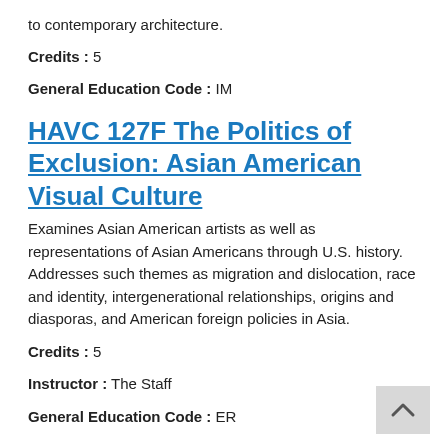to contemporary architecture.
Credits :  5
General Education Code :  IM
HAVC 127F The Politics of Exclusion: Asian American Visual Culture
Examines Asian American artists as well as representations of Asian Americans through U.S. history. Addresses such themes as migration and dislocation, race and identity, intergenerational relationships, origins and diasporas, and American foreign policies in Asia.
Credits :  5
Instructor :  The Staff
General Education Code :  ER